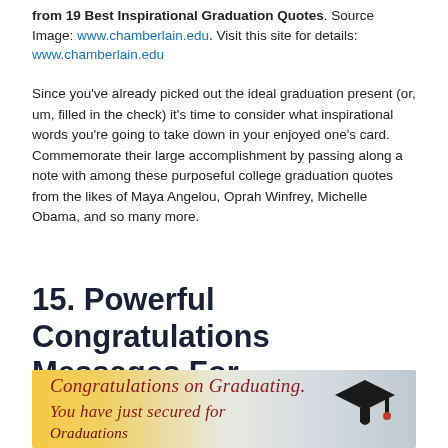from 19 Best Inspirational Graduation Quotes. Source Image: www.chamberlain.edu. Visit this site for details: www.chamberlain.edu
Since you've already picked out the ideal graduation present (or, um, filled in the check) it's time to consider what inspirational words you're going to take down in your enjoyed one's card. Commemorate their large accomplishment by passing along a note with among these purposeful college graduation quotes from the likes of Maya Angelou, Oprah Winfrey, Michelle Obama, and so many more.
15. Powerful Congratulations Messages For Graduations I Love
[Figure (illustration): Greeting card image with cursive red text reading 'Congratulations on Graduating. You have just secured for' on a warm yellow/golden background with a graduation cap on the right side.]